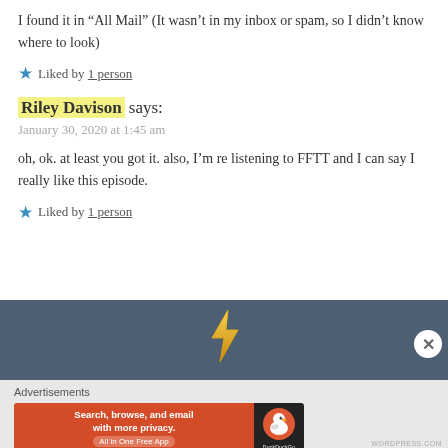I found it in “All Mail” (It wasn’t in my inbox or spam, so I didn’t know where to look)
★ Liked by 1 person
Riley Davison says:
January 30, 2020 at 1:45 am
oh, ok. at least you got it. also, I’m re listening to FFTT and I can say I really like this episode.
★ Liked by 1 person
[Figure (other): DuckDuckGo advertisement banner: orange left panel with text 'Search, browse, and email with more privacy. All in One Free App' and dark right panel with DuckDuckGo duck logo and brand name]
WORDPRESS.COM